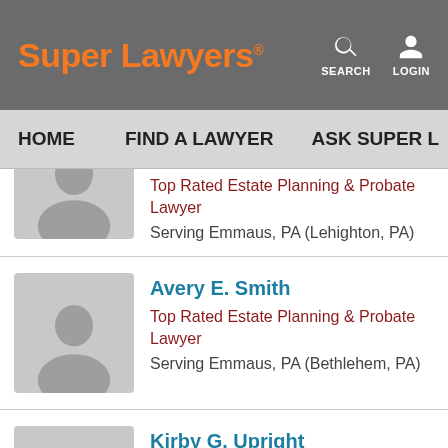Super Lawyers
SEARCH LOGIN
HOME   FIND A LAWYER   ASK SUPER L...
Top Rated Estate Planning & Probate Lawyer
Serving Emmaus, PA (Lehighton, PA)
Avery E. Smith
Top Rated Estate Planning & Probate Lawyer
Serving Emmaus, PA (Bethlehem, PA)
Kirby G. Upright
Top Rated Estate Planning & Probate Lawyer
Serving Emmaus, PA (Bethlehem, PA)